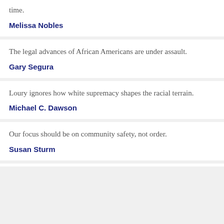time.
Melissa Nobles
The legal advances of African Americans are under assault.
Gary Segura
Loury ignores how white supremacy shapes the racial terrain.
Michael C. Dawson
Our focus should be on community safety, not order.
Susan Sturm